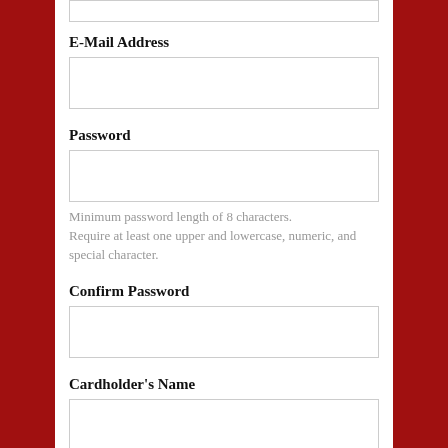E-Mail Address
[Figure (other): Empty text input field for E-Mail Address]
Password
[Figure (other): Empty text input field for Password]
Minimum password length of 8 characters. Require at least one upper and lowercase, numeric, and special character.
Confirm Password
[Figure (other): Empty text input field for Confirm Password]
Cardholder's Name
[Figure (other): Empty text input field for Cardholder's Name]